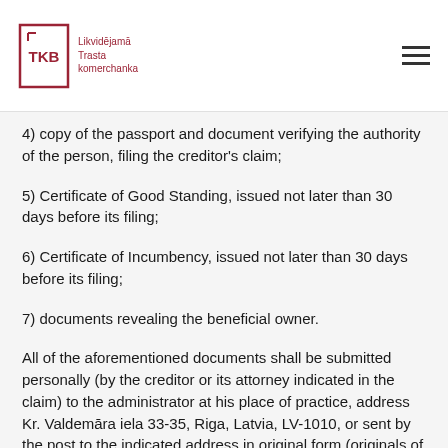TKB Likvidējamā Trasta komerchanka
4) copy of the passport and document verifying the authority of the person, filing the creditor's claim;
5) Certificate of Good Standing, issued not later than 30 days before its filing;
6) Certificate of Incumbency, issued not later than 30 days before its filing;
7) documents revealing the beneficial owner.
All of the aforementioned documents shall be submitted personally (by the creditor or its attorney indicated in the claim) to the administrator at his place of practice, address Kr. Valdemāra iela 33-35, Riga, Latvia, LV-1010, or sent by the post to the indicated address in original form (originals of the